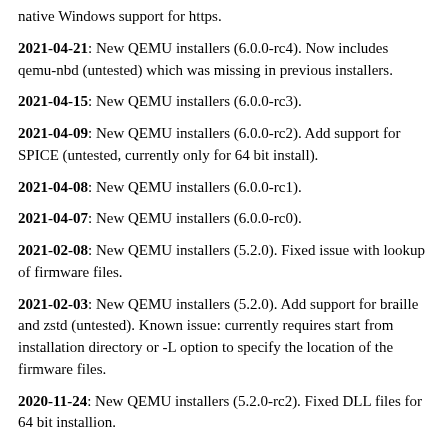native Windows support for https.
2021-04-21: New QEMU installers (6.0.0-rc4). Now includes qemu-nbd (untested) which was missing in previous installers.
2021-04-15: New QEMU installers (6.0.0-rc3).
2021-04-09: New QEMU installers (6.0.0-rc2). Add support for SPICE (untested, currently only for 64 bit install).
2021-04-08: New QEMU installers (6.0.0-rc1).
2021-04-07: New QEMU installers (6.0.0-rc0).
2021-02-08: New QEMU installers (5.2.0). Fixed issue with lookup of firmware files.
2021-02-03: New QEMU installers (5.2.0). Add support for braille and zstd (untested). Known issue: currently requires start from installation directory or -L option to specify the location of the firmware files.
2020-11-24: New QEMU installers (5.2.0-rc2). Fixed DLL files for 64 bit installion.
2020-11-20: New QEMU installers (5.2.0-rc2).